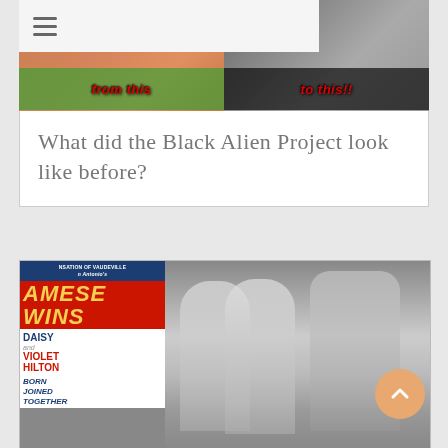[Figure (photo): Top image strip showing before/after photos with 'from this' and 'to this!!' text labels - related to Black Alien Project body modification]
What did the Black Alien Project look like before?
[Figure (photo): Two-part image: left side shows a vintage Siamese Twins vaudeville poster featuring Daisy and Violet Hilton 'Born Joined Together'; right side shows a black and white film still of two women with a man]